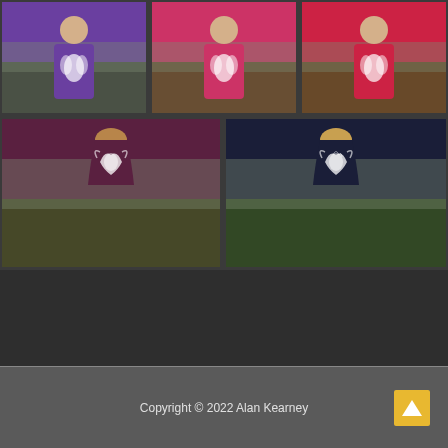[Figure (photo): Grid of 5 photos showing the back of a person wearing t-shirts of different colors (purple, pink/magenta, red/coral, maroon/plum, navy) each with a white phoenix or wing design printed on the back. Top row has 3 photos, bottom row has 2 larger photos. Photos taken outdoors on grass.]
Copyright © 2022 Alan Kearney